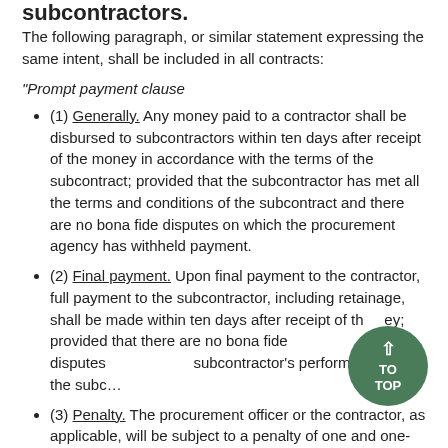subcontractors.
The following paragraph, or similar statement expressing the same intent, shall be included in all contracts:
“Prompt payment clause
(1) Generally. Any money paid to a contractor shall be disbursed to subcontractors within ten days after receipt of the money in accordance with the terms of the subcontract; provided that the subcontractor has met all the terms and conditions of the subcontract and there are no bona fide disputes on which the procurement agency has withheld payment.
(2) Final payment. Upon final payment to the contractor, full payment to the subcontractor, including retainage, shall be made within ten days after receipt of the money; provided that there are no bona fide disputes on the subcontractor’s performance under the subco…
(3) Penalty. The procurement officer or the contractor, as applicable, will be subject to a penalty of one and one-half